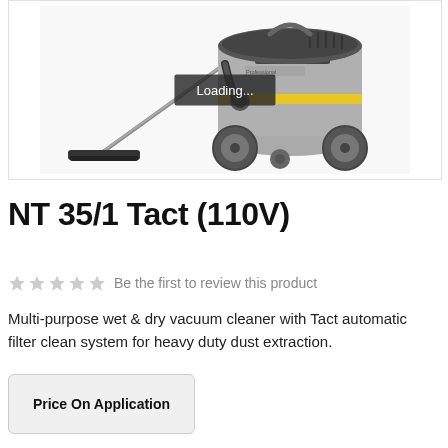[Figure (photo): Kärcher NT 35/1 Tact wet & dry vacuum cleaner (110V) in grey with black top, wheels, and cleaning wand/floor nozzle. A 'Loading...' overlay appears in the center of the image.]
NT 35/1 Tact (110V)
★★★★★  Be the first to review this product
Multi-purpose wet & dry vacuum cleaner with Tact automatic filter clean system for heavy duty dust extraction.
Price On Application